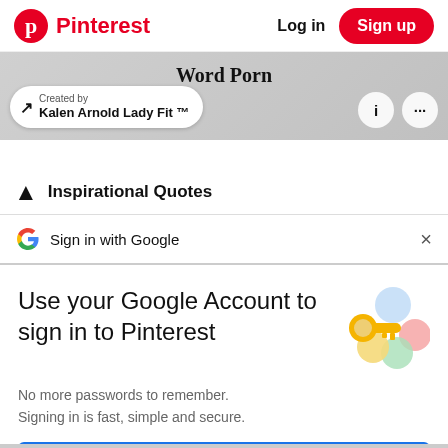Pinterest | Log in | Sign up
[Figure (screenshot): Pinterest board card showing 'Word Porn' with Created by Kalen Arnold Lady Fit ™ creator pill and action buttons]
Inspirational Quotes
Sign in with Google
Use your Google Account to sign in to Pinterest
No more passwords to remember. Signing in is fast, simple and secure.
[Figure (illustration): Google key illustration with colorful circles]
Continue